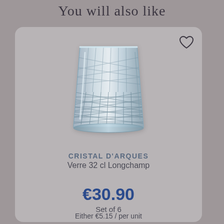You will also like
[Figure (photo): Product photo of a crystal cut glass tumbler (Cristal d'Arques Longchamp 32cl), clear glass with diamond-cut pattern on a grey card background]
CRISTAL D'ARQUES
Verre 32 cl Longchamp
€30.90
Set of 6
Either €5.15 / per unit